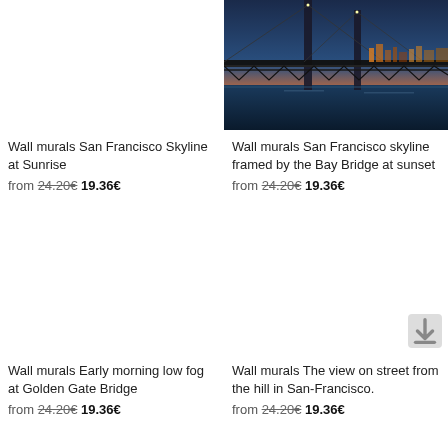[Figure (photo): Empty/blank product image placeholder for Wall murals San Francisco Skyline at Sunrise]
Wall murals San Francisco Skyline at Sunrise
from 24.20€ 19.36€
[Figure (photo): Photo of San Francisco skyline framed by the Bay Bridge at sunset - bridge structure in foreground, city skyline illuminated at dusk, water below, twilight sky]
Wall murals San Francisco skyline framed by the Bay Bridge at sunset
from 24.20€ 19.36€
[Figure (photo): Empty/blank product image placeholder for Wall murals Early morning low fog at Golden Gate Bridge]
Wall murals Early morning low fog at Golden Gate Bridge
from 24.20€ 19.36€
[Figure (photo): Empty/blank product image placeholder for Wall murals The view on street from the hill in San-Francisco, with small download badge icon]
Wall murals The view on street from the hill in San-Francisco.
from 24.20€ 19.36€